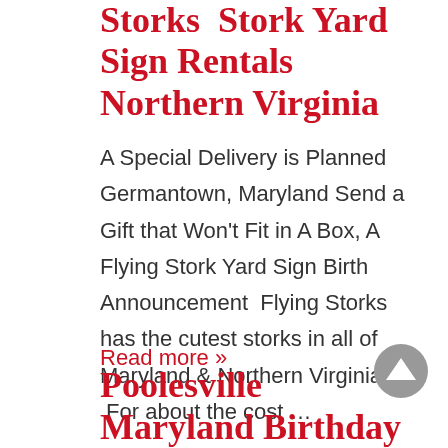Storks  Stork Yard Sign Rentals Northern Virginia
A Special Delivery is Planned Germantown, Maryland Send a Gift that Won't Fit in A Box, A Flying Stork Yard Sign Birth Announcement  Flying Storks has the cutest storks in all of Maryland & Northern Virginia.  For about the cost …
Read more »
Poolesville Maryland Birthday